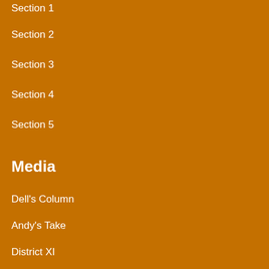Section 1
Section 2
Section 3
Section 4
Section 5
Media
Dell's Column
Andy's Take
District XI
From the Bench